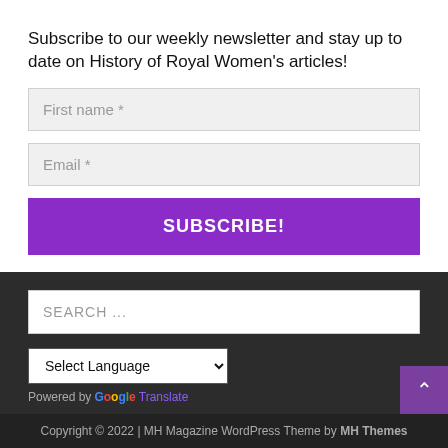Subscribe to our weekly newsletter and stay up to date on History of Royal Women's articles!
First name *
Email *
SUBSCRIBE!
SEARCH ...
Select Language
Powered by Google Translate
Copyright © 2022 | MH Magazine WordPress Theme by MH Themes